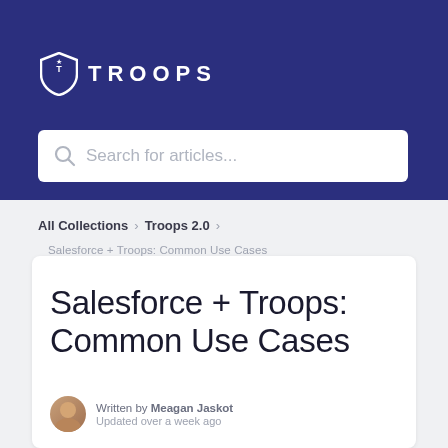[Figure (logo): Troops logo: shield icon with star and T, followed by TROOPS text in white on dark blue background]
Search for articles...
All Collections > Troops 2.0 >
Salesforce + Troops: Common Use Cases
Salesforce + Troops: Common Use Cases
Written by Meagan Jaskot
Updated over a week ago